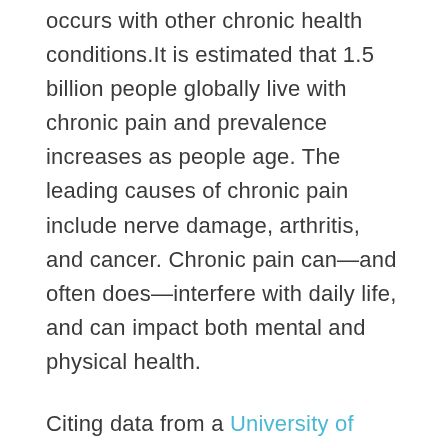occurs with other chronic health conditions.It is estimated that 1.5 billion people globally live with chronic pain and prevalence increases as people age. The leading causes of chronic pain include nerve damage, arthritis, and cancer. Chronic pain can—and often does—interfere with daily life, and can impact both mental and physical health.
Citing data from a University of Pittsburgh Medical Center study on chronic pain among over 20,000 patients, Hydragun looked at how different types of chronic pain affect other aspects of health including